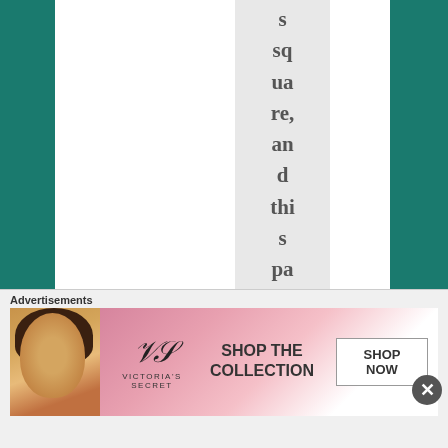square, and this particular little pattern on
[Figure (photo): Victoria's Secret advertisement banner featuring a model with curly hair and the text 'SHOP THE COLLECTION' with a 'SHOP NOW' button]
Advertisements